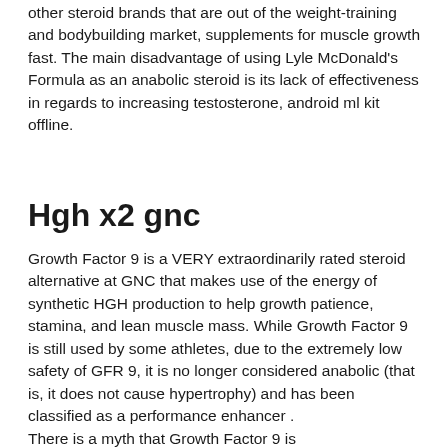other steroid brands that are out of the weight-training and bodybuilding market, supplements for muscle growth fast. The main disadvantage of using Lyle McDonald's Formula as an anabolic steroid is its lack of effectiveness in regards to increasing testosterone, android ml kit offline.
Hgh x2 gnc
Growth Factor 9 is a VERY extraordinarily rated steroid alternative at GNC that makes use of the energy of synthetic HGH production to help growth patience, stamina, and lean muscle mass. While Growth Factor 9 is still used by some athletes, due to the extremely low safety of GFR 9, it is no longer considered anabolic (that is, it does not cause hypertrophy) and has been classified as a performance enhancer .
There is a myth that Growth Factor 9 is